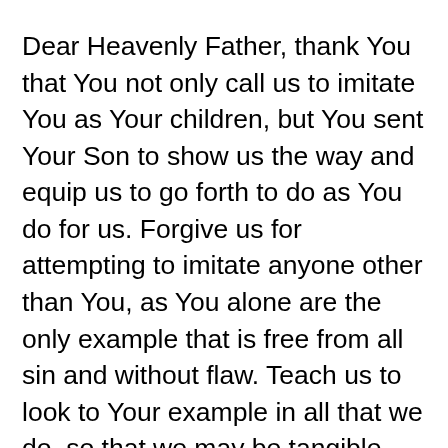Dear Heavenly Father, thank You that You not only call us to imitate You as Your children, but You sent Your Son to show us the way and equip us to go forth to do as You do for us. Forgive us for attempting to imitate anyone other than You, as You alone are the only example that is free from all sin and without flaw. Teach us to look to Your example in all that we do, so that we may be tangible examples of Your goodness and love. Show us how to love as You love, so that all might see Your light that burns within us. May many come into a lasting relationship with You. Be glorified O God, as we seek to imitate You in all that we do, so that others may come to know